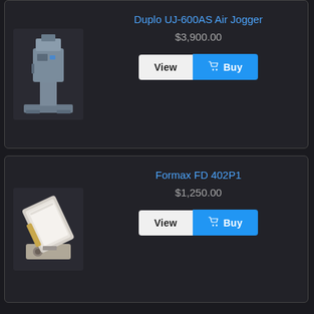[Figure (photo): Duplo UJ-600AS Air Jogger machine, gray/blue industrial paper jogger on a stand]
Duplo UJ-600AS Air Jogger
$3,900.00
[Figure (photo): Formax FD 402P1 paper jogger machine, compact white/beige device at an angle showing paper tray]
Formax FD 402P1
$1,250.00